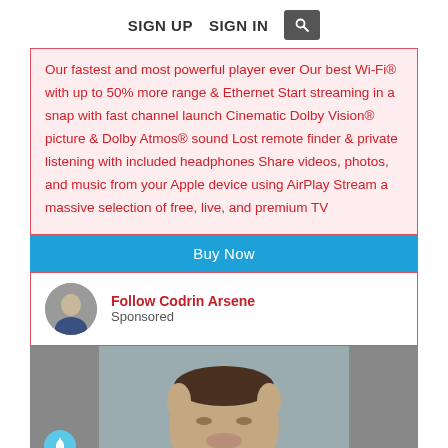SIGN UP   SIGN IN   [search]
Our fastest and most powerful player ever Our best Wi-Fi® with up to 50% more range & Ethernet Start streaming in a snap with fast channel launch Cinematic Dolby Vision® picture & Dolby Atmos® sound Lost remote finder & private listening with included headphones Share videos, photos, and music from your Apple device using AirPlay Stream a massive selection of free, live, and premium TV
Buy Now
Follow Codrin Arsene
Sponsored
[Figure (photo): Portrait photo of a man with short dark hair against a grey background, with a teal notification bell icon in the lower left corner.]